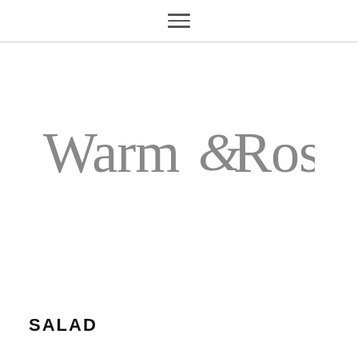☰
[Figure (logo): Warm & Rosy logo in thin gray serif/sans-serif lettering with decorative ampersand]
SALAD